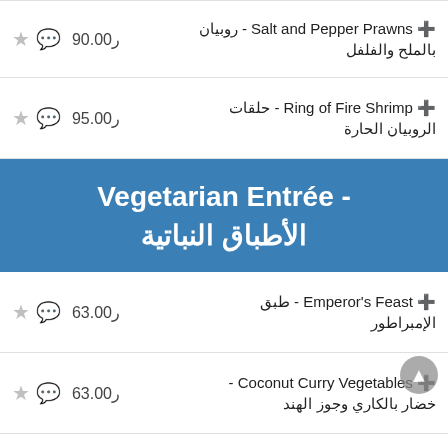Salt and Pepper Prawns - روبيان بالملح والفلفل | ر90.00
Ring of Fire Shrimp - حلقات الروبيان الحارة | ر95.00
Vegetarian Entrée - الأطباق النباتية
Emperor's Feast - طبق الإمبراطور | ر63.00
Coconut Curry Vegetables - خضار بالكاري وجوز الهند | ر63.00
Ma Po Tofu - ما بو توفو | ر51.50
Sushi - السوشي